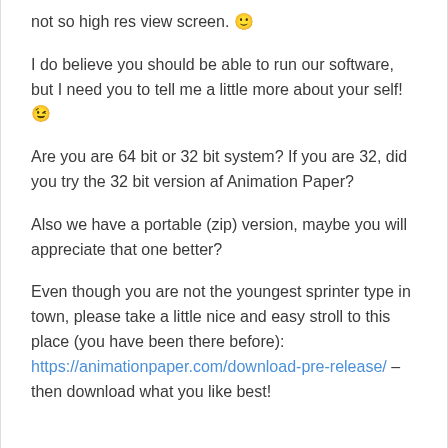not so high res view screen. 🙂
I do believe you should be able to run our software, but I need you to tell me a little more about your self! 😉
Are you are 64 bit or 32 bit system? If you are 32, did you try the 32 bit version af Animation Paper?
Also we have a portable (zip) version, maybe you will appreciate that one better?
Even though you are not the youngest sprinter type in town, please take a little nice and easy stroll to this place (you have been there before): https://animationpaper.com/download-pre-release/ – then download what you like best!